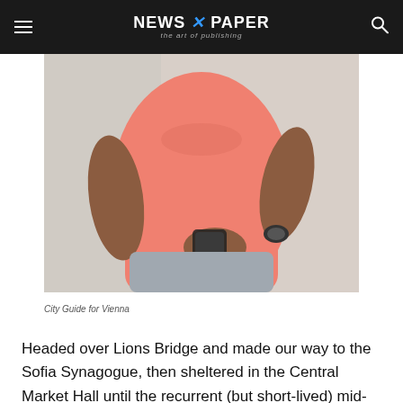NEWS X PAPER — the art of publishing
[Figure (photo): Person wearing a salmon/coral pink t-shirt and grey shorts holding a smartphone, viewed from mid-torso level]
City Guide for Vienna
Headed over Lions Bridge and made our way to the Sofia Synagogue, then sheltered in the Central Market Hall until the recurrent (but short-lived) mid-afternoon rain passed.